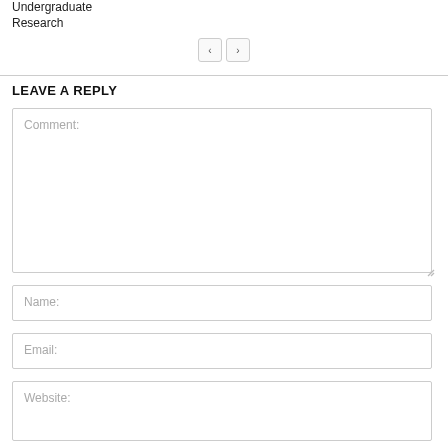Undergraduate
Research
[Figure (other): Navigation pagination buttons with left and right arrows]
LEAVE A REPLY
[Figure (screenshot): Comment text area input box with placeholder text 'Comment:']
[Figure (screenshot): Name input field with placeholder text 'Name:']
[Figure (screenshot): Email input field with placeholder text 'Email:']
[Figure (screenshot): Website input field with placeholder text 'Website:']